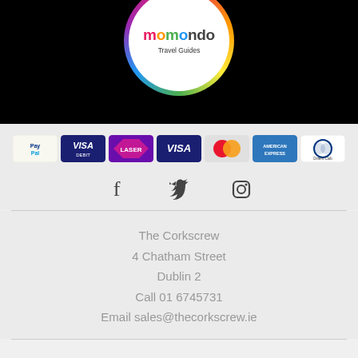[Figure (logo): Momondo Travel Guides logo in a circular badge with rainbow ring on black background]
[Figure (infographic): Payment method logos: PayPal, VISA Debit, Laser, VISA, MasterCard, American Express, Diners Club]
[Figure (infographic): Social media icons: Facebook, Twitter, Instagram]
The Corkscrew
4 Chatham Street
Dublin 2
Call 01 6745731
Email sales@thecorkscrew.ie